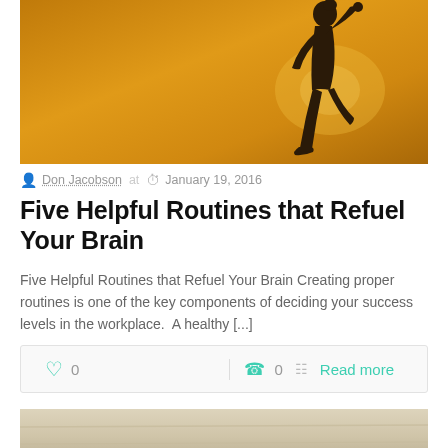[Figure (photo): Silhouette of a person running against a warm orange/golden sunset sky background]
Don Jacobson at  January 19, 2016
Five Helpful Routines that Refuel Your Brain
Five Helpful Routines that Refuel Your Brain Creating proper routines is one of the key components of deciding your success levels in the workplace.  A healthy [...]
0  0  Read more
[Figure (photo): Partial view of a light wooden surface or furniture, bottom of page]